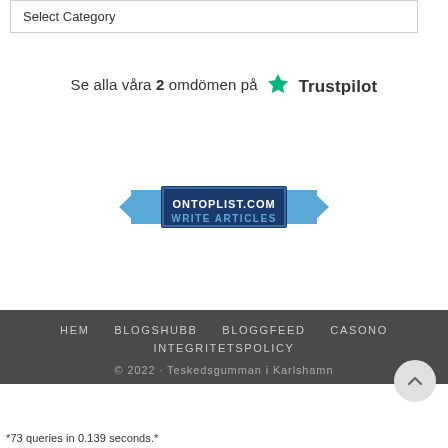Select Category
[Figure (logo): Trustpilot logo with green star and text 'Trustpilot'. Surrounding text reads: Se alla våra 2 omdömen på Trustpilot]
[Figure (logo): OnTopList.com badge with ribbon design, text: ONTOPLIST.COM WRITE ARTICLES]
HEM   BLOGSHUBB   BLOGGFEED   CASONO   INTEGRITETSPOLICY
© 2022 · Teskedsgumman i Karlshamn
*73 queries in 0.139 seconds.*